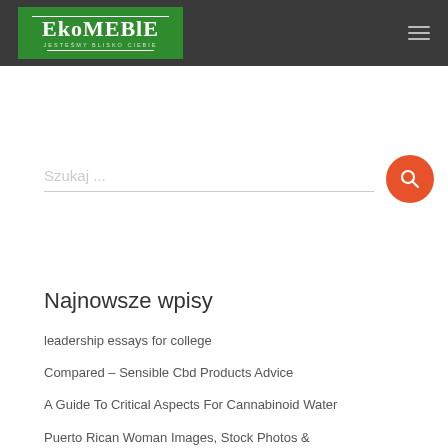[Figure (logo): Ekomeble logo — white text on green background with Polish tagline, inside dark grey header bar]
[Figure (other): Search bar with placeholder text 'Szukaj ...' and orange circular search button with magnifying glass icon]
Najnowsze wpisy
leadership essays for college
Compared – Sensible Cbd Products Advice
A Guide To Critical Aspects For Cannabinoid Water
Puerto Rican Woman Images, Stock Photos &